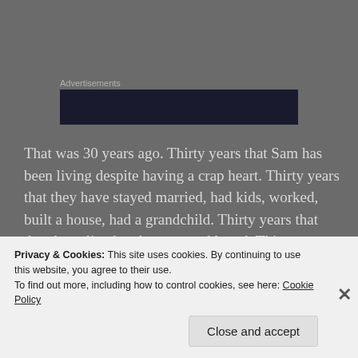Advertisements
That was 30 years ago. Thirty years that Sam has been living despite having a crap heart. Thirty years that they have stayed married, had kids, worked, built a house, had a grandchild. Thirty years that they have lived and grown and loved. Thirty years that that they have prayed, yes, but also 30 years that they most likely
Privacy & Cookies: This site uses cookies. By continuing to use this website, you agree to their use.
To find out more, including how to control cookies, see here: Cookie Policy
Close and accept